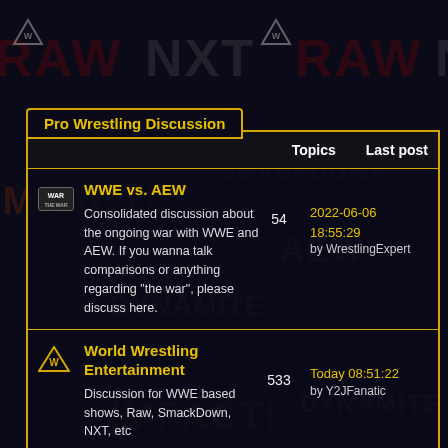Pro Wrestling Discussion
|  | Topics | Last post |
| --- | --- | --- |
| WWE vs. AEW — Consolidated discussion about the ongoing war with WWE and AEW. If you wanna talk comparisons or anything regarding "the war", please discuss here. | 54 | 2022-06-06 18:55:29 by WrestlingExpert |
| World Wrestling Entertainment — Discussion for WWE based shows, Raw, SmackDown, NXT, etc | 533 | Today 08:51:22 by Y2JFanatic |
| All Elite Wrestling — Discussion for AEW based shows, Dynamite, AEW Dark, PPVs, Being The Elite,etc. | 244 | 2022-06-06 18:49:54 by WrestlingExpert |